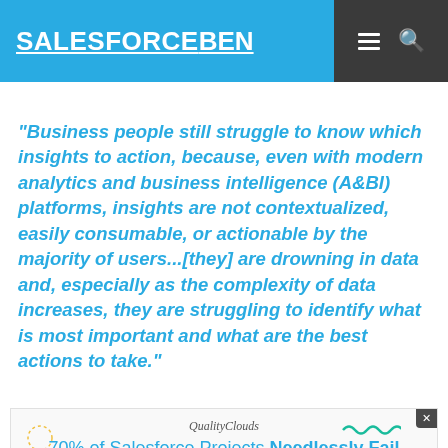SALESFORCEBEN
“Business people still struggle to know which insights to action, because, even with modern analytics and business intelligence (A&BI) platforms, insights are not contextualized, easily consumable, or actionable by the majority of users…[they] are drowning in data and, especially as the complexity of data increases, they are struggling to identify what is most important and what are the best actions to take.”
[Figure (infographic): Advertisement banner for QualityClouds: '70% of Salesforce Projects Needlessly Fail' with a 'LEARN HOW' button, decorative diamond, arrows, and wavy line elements.]
business decisions – are fruitless and pointless. They